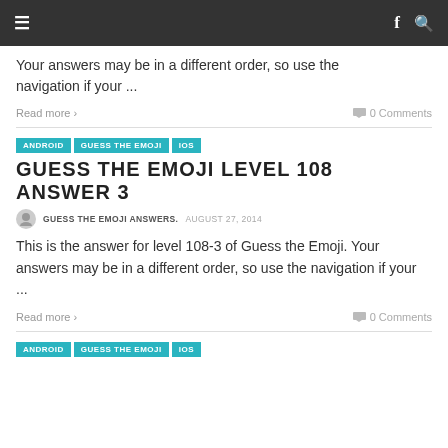≡  f 🔍
Your answers may be in a different order, so use the navigation if your ...
Read more ›   0 Comments
ANDROID  GUESS THE EMOJI  IOS
GUESS THE EMOJI LEVEL 108 ANSWER 3
GUESS THE EMOJI ANSWERS.  AUGUST 27, 2014
This is the answer for level 108-3 of Guess the Emoji. Your answers may be in a different order, so use the navigation if your ...
Read more ›   0 Comments
ANDROID  GUESS THE EMOJI  IOS